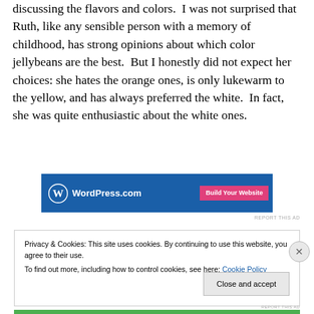discussing the flavors and colors.  I was not surprised that Ruth, like any sensible person with a memory of childhood, has strong opinions about which color jellybeans are the best.  But I honestly did not expect her choices: she hates the orange ones, is only lukewarm to the yellow, and has always preferred the white.  In fact, she was quite enthusiastic about the white ones.
[Figure (screenshot): WordPress.com advertisement banner with blue background showing WordPress.com logo and 'Build Your Website' button in pink]
REPORT THIS AD
Privacy & Cookies: This site uses cookies. By continuing to use this website, you agree to their use.
To find out more, including how to control cookies, see here: Cookie Policy